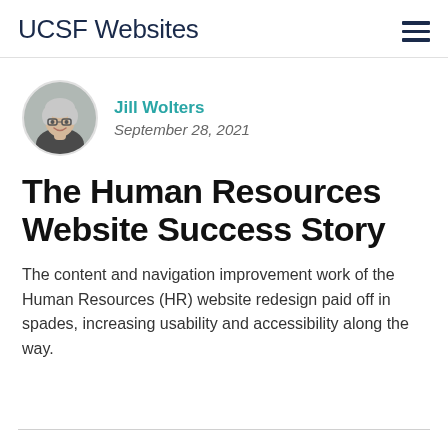UCSF Websites
[Figure (photo): Circular avatar photo of Jill Wolters, a woman with grey hair and glasses, smiling]
Jill Wolters
September 28, 2021
The Human Resources Website Success Story
The content and navigation improvement work of the Human Resources (HR) website redesign paid off in spades, increasing usability and accessibility along the way.